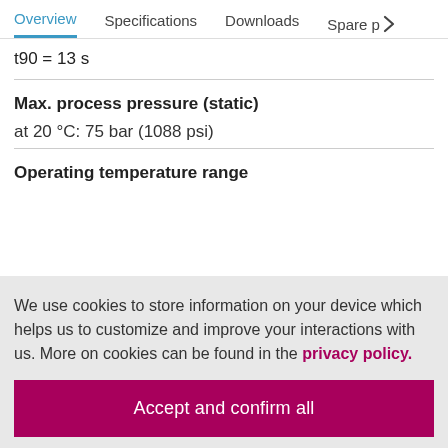Overview | Specifications | Downloads | Spare p >
Max. process pressure (static)
at 20 °C: 75 bar (1088 psi)
Operating temperature range
We use cookies to store information on your device which helps us to customize and improve your interactions with us. More on cookies can be found in the privacy policy.
Accept and confirm all
Adapt settings